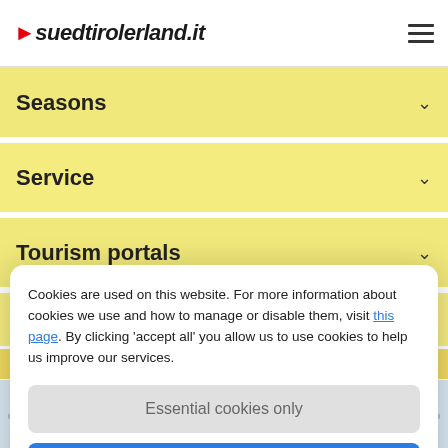suedtirolerland.it
Seasons
Service
Tourism portals
Terms and conditions
Cookies are used on this website. For more information about cookies we use and how to manage or disable them, visit this page. By clicking 'accept all' you allow us to use cookies to help us improve our services.
Essential cookies only
Accept all
★ ★ ★   Hotel Schneeberg